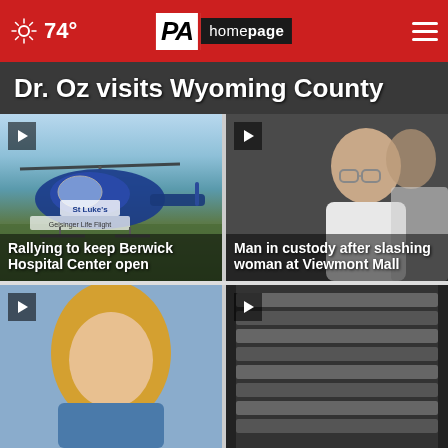74° | PA Homepage
Dr. Oz visits Wyoming County
[Figure (photo): Geisinger Life Flight helicopter labeled St. Luke's on a helipad with trees in background]
Rallying to keep Berwick Hospital Center open
[Figure (photo): Man in white t-shirt with glasses looking down, in custody]
Man in custody after slashing woman at Viewmont Mall
[Figure (photo): Blonde woman, partial view]
[Figure (photo): Kitchen ventilation hood, dark interior]